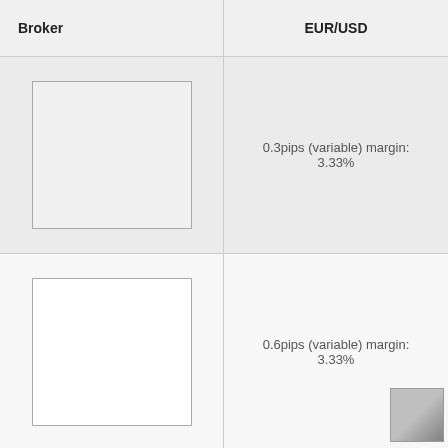| Broker | EUR/USD |
| --- | --- |
| [broker logo 1] | 0.3pips (variable) margin:
3.33% |
| [broker logo 2] | 0.6pips (variable) margin:
3.33% |